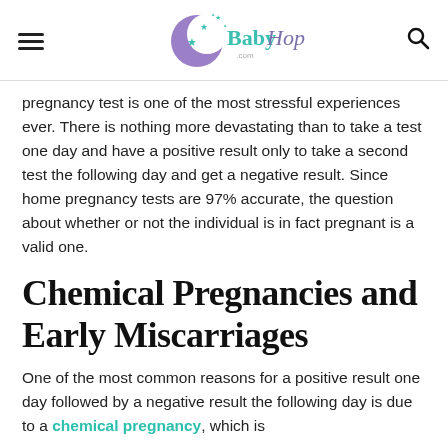BabyHopes.com
pregnancy test is one of the most stressful experiences ever. There is nothing more devastating than to take a test one day and have a positive result only to take a second test the following day and get a negative result. Since home pregnancy tests are 97% accurate, the question about whether or not the individual is in fact pregnant is a valid one.
Chemical Pregnancies and Early Miscarriages
One of the most common reasons for a positive result one day followed by a negative result the following day is due to a chemical pregnancy, which is